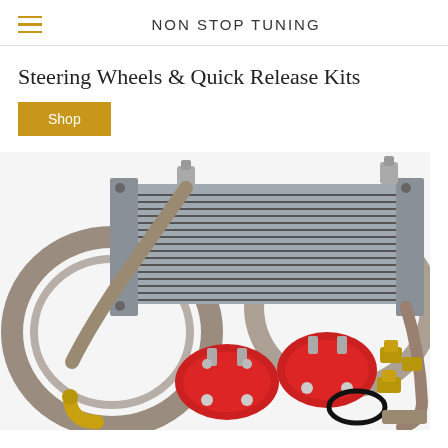NON STOP TUNING
Steering Wheels & Quick Release Kits
Shop
[Figure (photo): Product photo of an oil cooler kit showing a finned aluminum oil cooler, braided steel hoses, red anodized filter relocation adapters with fittings, and various brass/steel fittings and O-rings on a white background.]